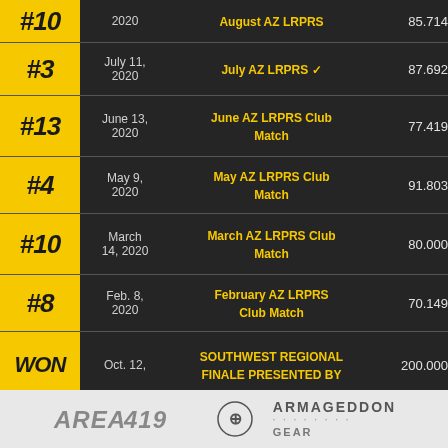| Rank | Date | Event | Score |
| --- | --- | --- | --- |
| #10 | 2020 | August AZ LRPRS | 85.714 |
| #3 | July 11, 2020 | July AZ LRPRS ✓ | 87.692 |
| #13 | June 13, 2020 | June AZ LRPRS Club Match | 77.419 |
| #4 | May 9, 2020 | May AZ LRPRS Club Match | 91.803 |
| #10 | March 14, 2020 | March AZ LRPRS Club Match | 80.000 |
| #8 | Feb. 8, 2020 | February AZ LRPRS Club Match | 70.149 |
| WON | Oct. 12, | SOUTHWEST REGIONAL FINALE PRESENTED BY | 200.000 |
[Figure (logo): Area 419 logo and Armageddon Gear logo in footer bar]